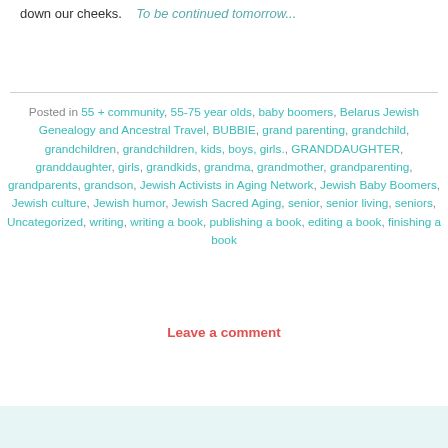down our cheeks.    To be continued tomorrow...
Posted in 55 + community, 55-75 year olds, baby boomers, Belarus Jewish Genealogy and Ancestral Travel, BUBBIE, grand parenting, grandchild, grandchildren, grandchildren, kids, boys, girls., GRANDDAUGHTER, granddaughter, girls, grandkids, grandma, grandmother, grandparenting, grandparents, grandson, Jewish Activists in Aging Network, Jewish Baby Boomers, Jewish culture, Jewish humor, Jewish Sacred Aging, senior, senior living, seniors, Uncategorized, writing, writing a book, publishing a book, editing a book, finishing a book
Leave a comment